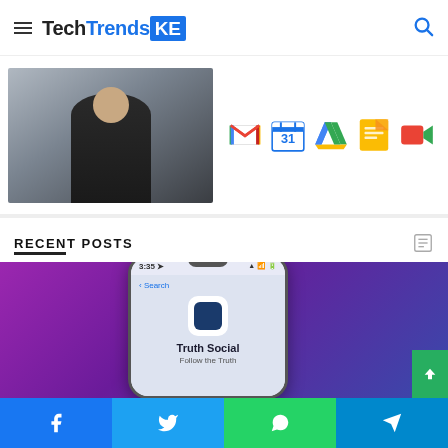TechTrendsKE
[Figure (photo): Person in suit holding phone, and Google Workspace app icons (Gmail, Calendar, Drive, Docs, Meet)]
RECENT POSTS
[Figure (photo): Smartphone showing Truth Social app - Follow the Truth, time 3:35]
Facebook | Twitter | WhatsApp | Telegram social share buttons